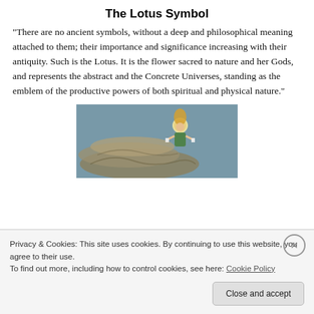The Lotus Symbol
“There are no ancient symbols, without a deep and philosophical meaning attached to them; their importance and significance increasing with their antiquity. Such is the Lotus. It is the flower sacred to nature and her Gods, and represents the abstract and the Concrete Universes, standing as the emblem of the productive powers of both spiritual and physical nature.”
[Figure (illustration): A painting showing a Hindu deity figure with a golden halo/crown seated above large serpent coils, against a blue-grey background.]
Privacy & Cookies: This site uses cookies. By continuing to use this website, you agree to their use.
To find out more, including how to control cookies, see here: Cookie Policy
Close and accept